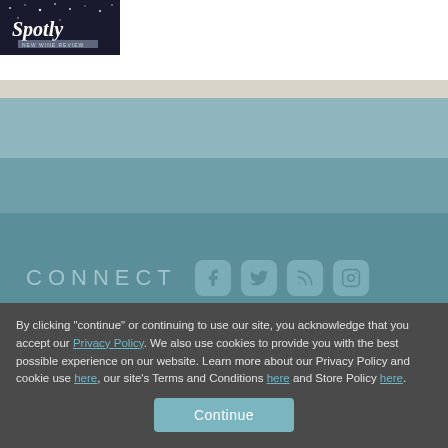[Figure (logo): Spotty logo with dark background, cursive white text and small text below]
CONNECT
[Figure (infographic): Social media icons: Facebook, Twitter, RSS, Instagram]
By clicking "continue" or continuing to use our site, you acknowledge that you accept our Privacy Policy. We also use cookies to provide you with the best possible experience on our website. Learn more about our Privacy Policy and cookie use here, our site's Terms and Conditions here and Store Policy here.
Continue